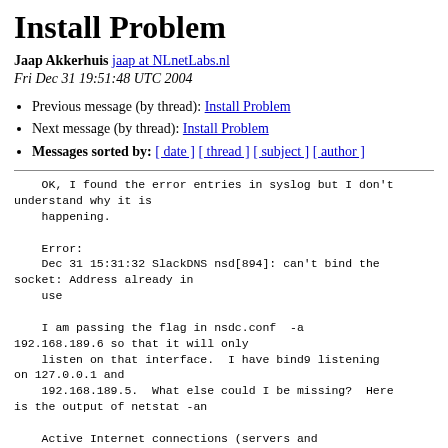Install Problem
Jaap Akkerhuis jaap at NLnetLabs.nl
Fri Dec 31 19:51:48 UTC 2004
Previous message (by thread): Install Problem
Next message (by thread): Install Problem
Messages sorted by: [ date ] [ thread ] [ subject ] [ author ]
OK, I found the error entries in syslog but I don't understand why it is
    happening.

    Error:
    Dec 31 15:31:32 SlackDNS nsd[894]: can't bind the socket: Address already in
    use

    I am passing the flag in nsdc.conf  -a 192.168.189.6 so that it will only
    listen on that interface.  I have bind9 listening on 127.0.0.1 and
    192.168.189.5.  What else could I be missing?  Here is the output of netstat -an

    Active Internet connections (servers and